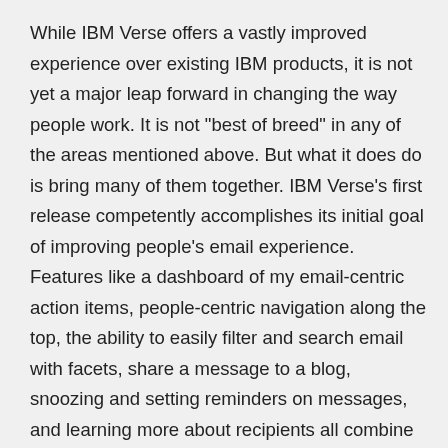While IBM Verse offers a vastly improved experience over existing IBM products, it is not yet a major leap forward in changing the way people work. It is not "best of breed" in any of the areas mentioned above. But what it does do is bring many of them together. IBM Verse's first release competently accomplishes its initial goal of improving people's email experience. Features like a dashboard of my email-centric action items, people-centric navigation along the top, the ability to easily filter and search email with facets, share a message to a blog, snoozing and setting reminders on messages, and learning more about recipients all combine to create a compelling user experience.
What IBM Verse accomplishes is showing IBM has started the...